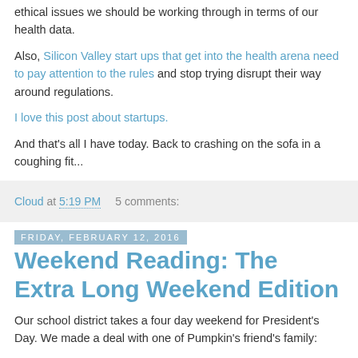ethical issues we should be working through in terms of our health data.
Also, Silicon Valley start ups that get into the health arena need to pay attention to the rules and stop trying disrupt their way around regulations.
I love this post about startups.
And that's all I have today. Back to crashing on the sofa in a coughing fit...
Cloud at 5:19 PM   5 comments:
Friday, February 12, 2016
Weekend Reading: The Extra Long Weekend Edition
Our school district takes a four day weekend for President's Day. We made a deal with one of Pumpkin's friend's family: